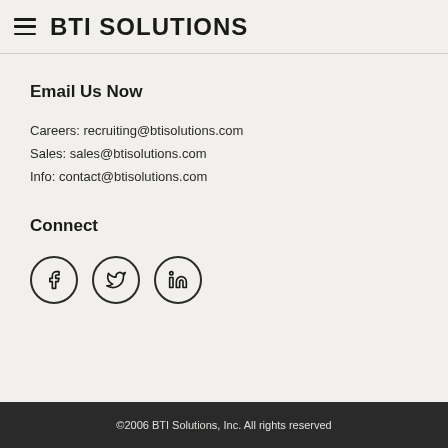BTI SOLUTIONS
Email Us Now
Careers: recruiting@btisolutions.com
Sales: sales@btisolutions.com
Info: contact@btisolutions.com
Connect
[Figure (other): Three social media icons in circles: Facebook (f), Twitter (bird), LinkedIn (in)]
©2006 BTI Solutions, Inc. All rights reserved